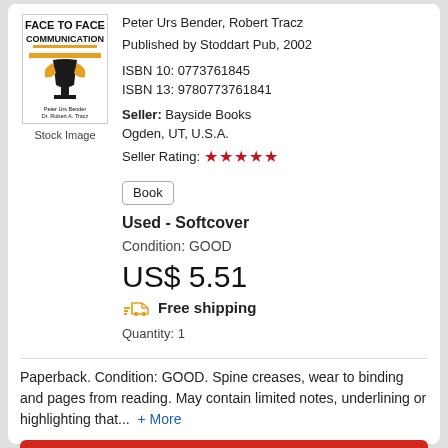[Figure (illustration): Book cover for 'Face to Face Communication' by Peter Urs Bender, Dr. Robert A. Tracz, with gold and black design]
Stock Image
Peter Urs Bender, Robert Tracz
Published by Stoddart Pub, 2002
ISBN 10: 0773761845
ISBN 13: 9780773761841
Seller: Bayside Books
Ogden, UT, U.S.A.
Seller Rating: ★★★★★
Book
Used - Softcover
Condition: GOOD
US$ 5.51
Free shipping
Quantity: 1
Paperback. Condition: GOOD. Spine creases, wear to binding and pages from reading. May contain limited notes, underlining or highlighting that...  + More
Add to Basket